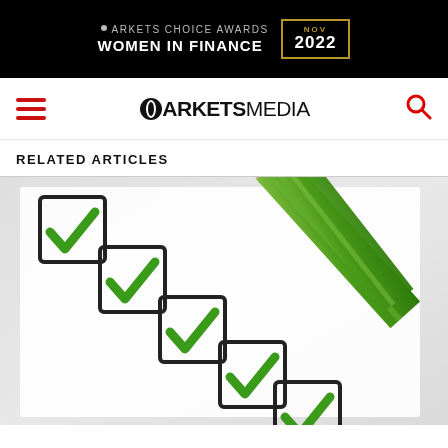[Figure (logo): Markets Choice Awards Women in Finance NOV 2022 black banner advertisement]
ARKETSMEDIA — navigation bar with hamburger menu and search icon
RELATED ARTICLES
[Figure (photo): Checklist illustration showing five checkboxes with green checkmarks being marked by a green pencil]